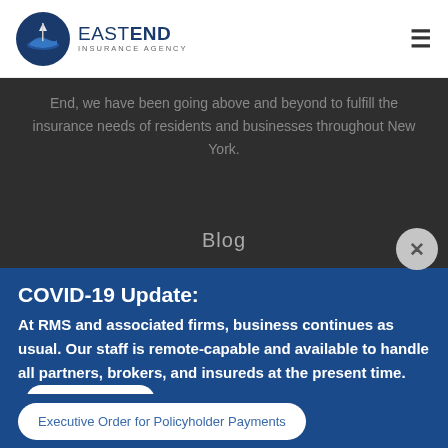EAST END INSURANCE AGENCY
End, we have been going above and beyond to fulfill the insurance needs of residents and businesses throughout New York.
Blog
COVID-19 Update:
At RMS and associated firms, business continues as usual. Our staff is remote-capable and available to handle all partners, brokers, and insureds at the present time.
Contact us today!
Executive Order for Policyholder Payments